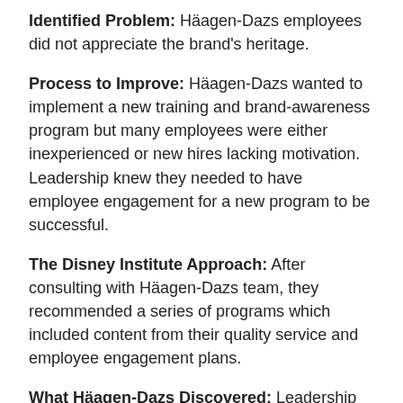Identified Problem: Häagen-Dazs employees did not appreciate the brand's heritage.
Process to Improve: Häagen-Dazs wanted to implement a new training and brand-awareness program but many employees were either inexperienced or new hires lacking motivation. Leadership knew they needed to have employee engagement for a new program to be successful.
The Disney Institute Approach: After consulting with Häagen-Dazs team, they recommended a series of programs which included content from their quality service and employee engagement plans.
What Häagen-Dazs Discovered: Leadership realized they needed to focus on overall company training for all employees. They introduced a program similar to Disney